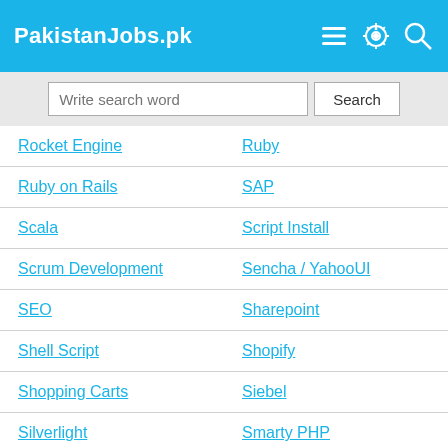PakistanJobs.pk
Write search word | Search
Rocket Engine
Ruby
Ruby on Rails
SAP
Scala
Script Install
Scrum Development
Sencha / YahooUI
SEO
Sharepoint
Shell Script
Shopify
Shopping Carts
Siebel
Silverlight
Smarty PHP
Social Engine
Social Networking
Socket IO
Software Architecture
Software Development
Software Testing
Solaris
SQL
SugarCRM
Symfony PHP
System Admin
TaoBao API
TestStand
Tumblr